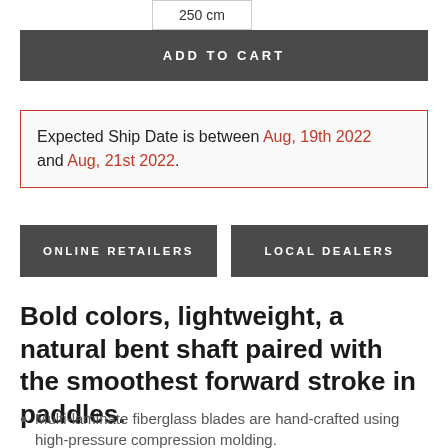250 cm
ADD TO CART
Expected Ship Date is between Aug, 19th 2022 and Aug, 21st 2022.
ONLINE RETAILERS
LOCAL DEALERS
Bold colors, lightweight, a natural bent shaft paired with the smoothest forward stroke in paddles.
Multi-laminate fiberglass blades are hand-crafted using high-pressure compression molding.